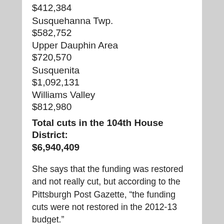$412,384
Susquehanna Twp.
$582,752
Upper Dauphin Area
$720,570
Susquenita
$1,092,131
Williams Valley
$812,980
Total cuts in the 104th House District:
$6,940,409
She says that the funding was restored and not really cut, but according to the Pittsburgh Post Gazette, “the funding cuts were not restored in the 2012-13 budget.”
“[School officials] believe the funding problems are affecting student achievement, including the lower results of the Pennsylvania System of School